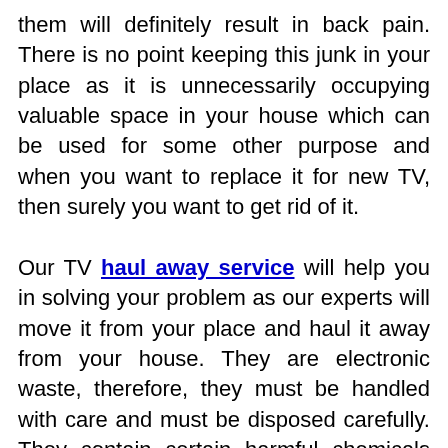them will definitely result in back pain. There is no point keeping this junk in your place as it is unnecessarily occupying valuable space in your house which can be used for some other purpose and when you want to replace it for new TV, then surely you want to get rid of it.

Our TV haul away service will help you in solving your problem as our experts will move it from your place and haul it away from your house. They are electronic waste, therefore, they must be handled with care and must be disposed carefully. They contain certain harmful chemicals which can cause harm to our environment, therefore, our team take this matter into their hands seriously